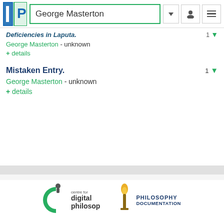George Masterton
Deficiencies in Laputa.
George Masterton - unknown
+ details
Mistaken Entry.
George Masterton - unknown
+ details
Home | New books and articles | Bibliographies | Philosophy journals | Discussions | Article Index | About PhilPapers | API | Contact us | Code of conduct
[Figure (logo): Centre for Digital Philosophy logo and Philosophy Documentation Center logo at page bottom]